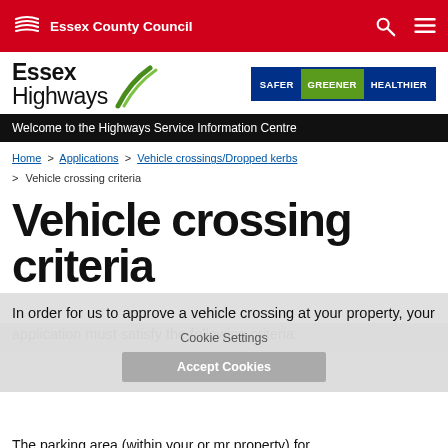Essex County Council
[Figure (logo): Essex Highways logo with green road graphic and 'SAFER GREENER HEALTHIER' badge]
Welcome to the Highways Service Information Centre
Home > Applications > Vehicle crossings/Dropped kerbs > Vehicle crossing criteria
Vehicle crossing criteria
In order for us to approve a vehicle crossing at your property, your application must satisfy the following criteria:
The parking area (within your or mr property) for...